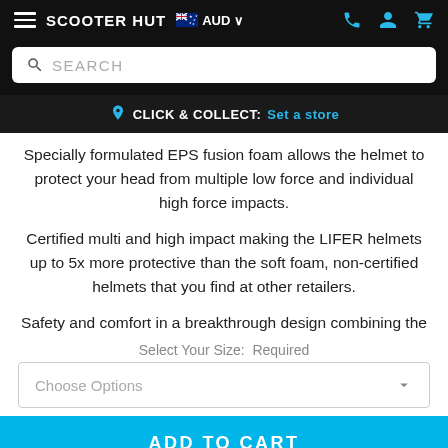SCOOTER HUT  AUD
Specially formulated EPS fusion foam allows the helmet to protect your head from multiple low force and individual high force impacts.
Certified multi and high impact making the LIFER helmets up to 5x more protective than the soft foam, non-certified helmets that you find at other retailers.
Safety and comfort in a breakthrough design combining the
Select Your Size:  Required
Choose Options
ADD TO CART